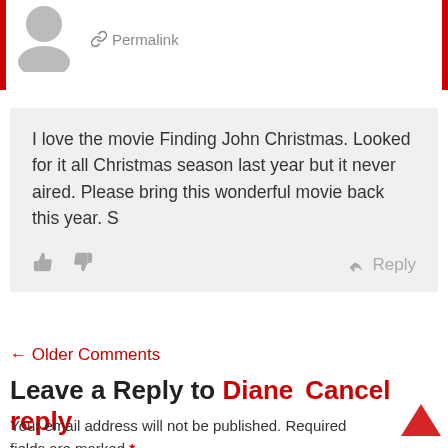Permalink
I love the movie Finding John Christmas. Looked for it all Christmas season last year but it never aired. Please bring this wonderful movie back this year. S
Reply
← Older Comments
Leave a Reply to Diane   Cancel reply
Your email address will not be published. Required fields are marked *